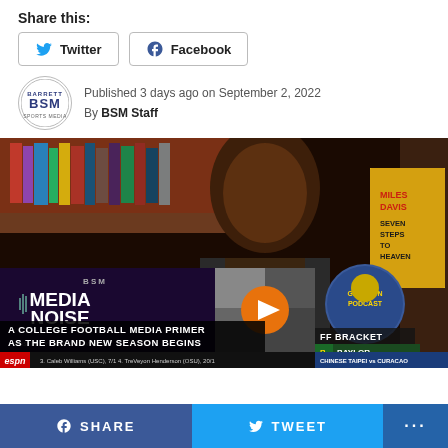Share this:
Twitter
Facebook
Published 3 days ago on September 2, 2022
By BSM Staff
[Figure (screenshot): Video embed showing a person being interviewed, with overlaid media player content including BSM Media Noise podcast thumbnail, sports bracket overlay showing Baylor and Michigan, ESPN ticker, and WBC overlay.]
SHARE   TWEET   ...